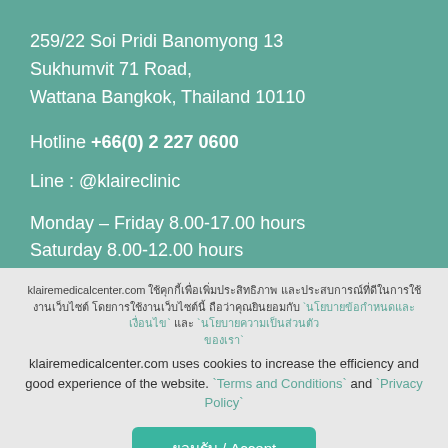259/22 Soi Pridi Banomyong 13
Sukhumvit 71 Road,
Wattana Bangkok, Thailand 10110
Hotline +66(0) 2 227 0600
Line : @klaireclinic
Monday – Friday 8.00-17.00 hours
Saturday 8.00-12.00 hours
klairemedicalcenter.com ใช้คุกกี้เพื่อเพิ่มประสิทธิภาพและประสบการณ์ที่ดีในการใช้งานเว็บไซต์ `นโยบายข้อกำหนดและเงื่อนไข` และ `นโยบายความเป็นส่วนตัว`
klairemedicalcenter.com uses cookies to increase the efficiency and good experience of the website. `Terms and Conditions` and `Privacy Policy`
ยอมรับ / Accept